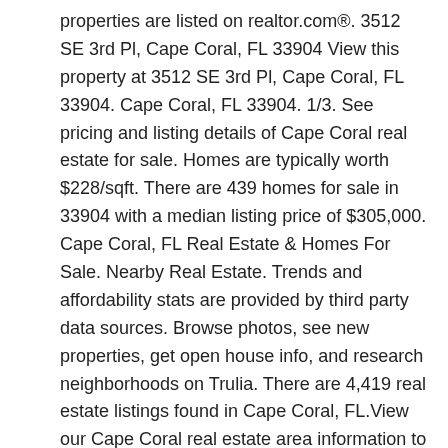properties are listed on realtor.com®. 3512 SE 3rd Pl, Cape Coral, FL 33904 View this property at 3512 SE 3rd Pl, Cape Coral, FL 33904. Cape Coral, FL 33904. 1/3. See pricing and listing details of Cape Coral real estate for sale. Homes are typically worth $228/sqft. There are 439 homes for sale in 33904 with a median listing price of $305,000. Cape Coral, FL Real Estate & Homes For Sale. Nearby Real Estate. Trends and affordability stats are provided by third party data sources. Browse photos, see new properties, get open house info, and research neighborhoods on Trulia. There are 4,419 real estate listings found in Cape Coral, FL.View our Cape Coral real estate area information to learn about the weather, local school districts, demographic data, and general information about Cape Coral, FL. Affordability of Living in Cape Coral, FL. 3512 SE 3rd Pl . Save. 161 Homes For Sale in Cape Coral, FL 33904. Browse photos, see new properties, get open house info, and research neighborhoods on Trulia. Order By. Get in touch with a Cape Coral real estate agent who can help you find the home of your dreams in Cape Coral. Consulting with a mortgage lender is the first step you should undertake in the home buying process. Learn about the Cape Coral, FL housing market